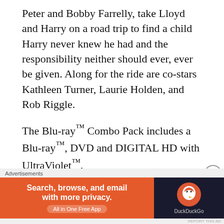Peter and Bobby Farrelly, take Lloyd and Harry on a road trip to find a child Harry never knew he had and the responsibility neither should ever, ever be given. Along for the ride are co-stars Kathleen Turner, Laurie Holden, and Rob Riggle.
The Blu-ray™ Combo Pack includes a Blu-ray™, DVD and DIGITAL HD with UltraViolet™.
Blu-ray™ unleashes the power of your HDTV and is the best way to watch movies at home, featuring 6X the picture resolution of DVD, exclusive extras and theater-quality surround sound.
DVD offers the flexibility and convenience of playing movies in more places, both at home and away.
[Figure (infographic): DuckDuckGo advertisement banner: orange section with text 'Search, browse, and email with more privacy. All in One Free App', dark section with DuckDuckGo logo and name.]